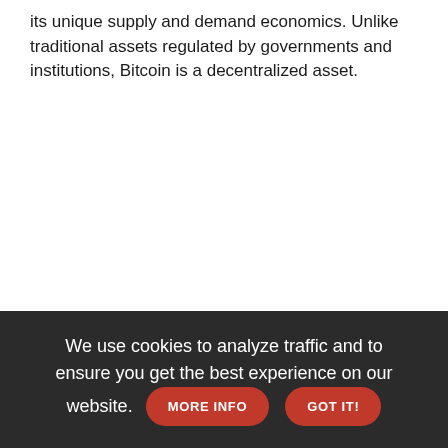its unique supply and demand economics. Unlike traditional assets regulated by governments and institutions, Bitcoin is a decentralized asset.
We use cookies to analyze traffic and to ensure you get the best experience on our website. MORE INFO GOT IT!